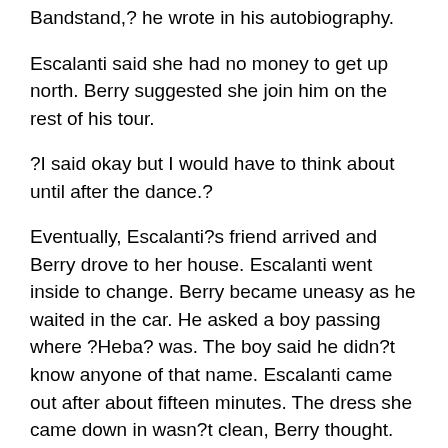Bandstand,? he wrote in his autobiography.
Escalanti said she had no money to get up north. Berry suggested she join him on the rest of his tour.
?I said okay but I would have to think about until after the dance.?
Eventually, Escalanti?s friend arrived and Berry drove to her house. Escalanti went inside to change. Berry became uneasy as he waited in the car. He asked a boy passing where ?Heba? was. The boy said he didn?t know anyone of that name. Escalanti came out after about fifteen minutes. The dress she came down in wasn?t clean, Berry thought.